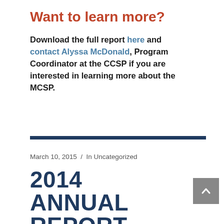Want to learn more?
Download the full report here and contact Alyssa McDonald, Program Coordinator at the CCSP if you are interested in learning more about the MCSP.
March 10, 2015  /  In Uncategorized
2014 ANNUAL REPORT REVE...